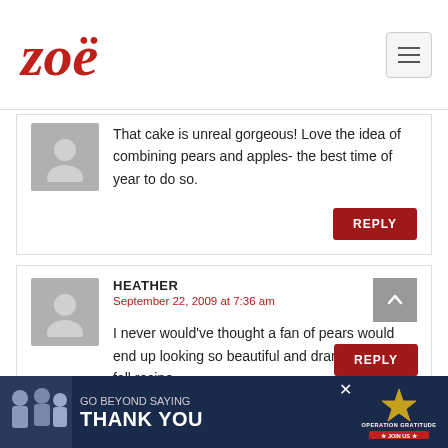Zoë [logo] | hamburger menu
That cake is unreal gorgeous! Love the idea of combining pears and apples- the best time of year to do so.
REPLY
HEATHER
September 22, 2009 at 7:36 am
I never would've thought a fan of pears would end up looking so beautiful and dramatic. Great fall recipe.
REPLY